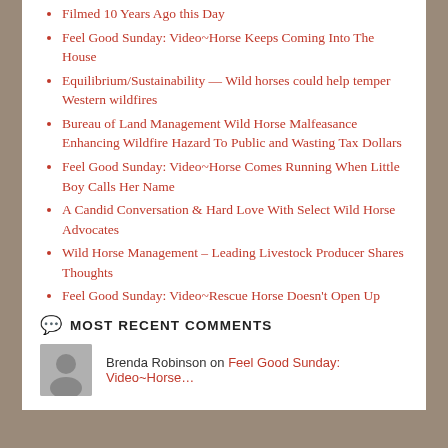Filmed 10 Years Ago this Day
Feel Good Sunday: Video~Horse Keeps Coming Into The House
Equilibrium/Sustainability — Wild horses could help temper Western wildfires
Bureau of Land Management Wild Horse Malfeasance Enhancing Wildfire Hazard To Public and Wasting Tax Dollars
Feel Good Sunday: Video~Horse Comes Running When Little Boy Calls Her Name
A Candid Conversation & Hard Love With Select Wild Horse Advocates
Wild Horse Management – Leading Livestock Producer Shares Thoughts
Feel Good Sunday: Video~Rescue Horse Doesn't Open Up Until She Finds Her Mini Horse Boyfriend
MOST RECENT COMMENTS
Brenda Robinson on Feel Good Sunday: Video~Horse…